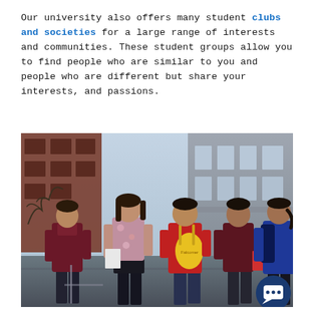Our university also offers many student clubs and societies for a large range of interests and communities. These student groups allow you to find people who are similar to you and people who are different but share your interests, and passions.
[Figure (photo): Group of five university students standing and chatting outside on campus. One student wears a red shirt with a yellow drawstring bag. Buildings are visible in the background. A chat button icon is visible in the bottom-right corner of the image.]